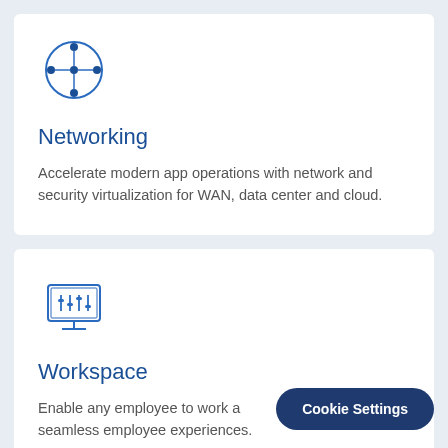[Figure (illustration): Network topology icon: a circle outline with nodes at top, bottom, left, right, and center, connected by lines, in blue outline style]
Networking
Accelerate modern app operations with network and security virtualization for WAN, data center and cloud.
[Figure (illustration): Monitor/display icon with vertical slider controls inside, in blue outline style with a stand]
Workspace
Enable any employee to work a seamless employee experiences.